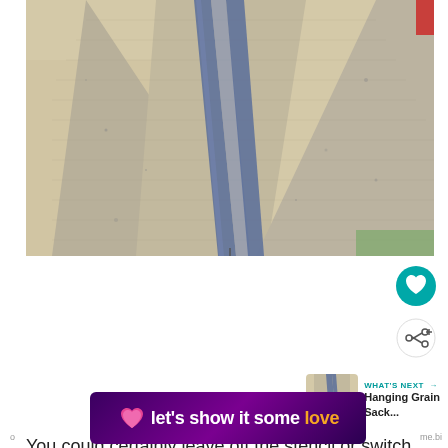[Figure (photo): Close-up photo of a burlap/grain sack fabric laid flat, showing blue stripe running vertically down the center of the textile, with a slightly aged, textured background]
[Figure (other): Teal circular heart/favorite button icon]
[Figure (other): White circular share button icon with share symbol]
[Figure (other): What's Next thumbnail showing small image of hanging grain sack with text 'WHAT'S NEXT → Hanging Grain Sack...']
You could certainly leave off the stencil or switch
[Figure (other): Advertisement banner reading "let's show it some love" with pink heart icon on dark purple gradient background]